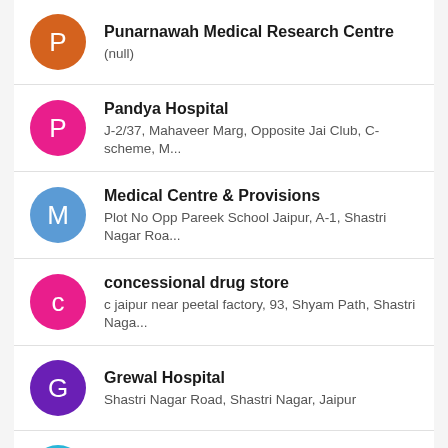Punarnawah Medical Research Centre
(null)
Pandya Hospital
J-2/37, Mahaveer Marg, Opposite Jai Club, C-scheme, M...
Medical Centre & Provisions
Plot No Opp Pareek School Jaipur, A-1, Shastri Nagar Roa...
concessional drug store
c jaipur near peetal factory, 93, Shyam Path, Shastri Naga...
Grewal Hospital
Shastri Nagar Road, Shastri Nagar, Jaipur
Laxmi medical and general store